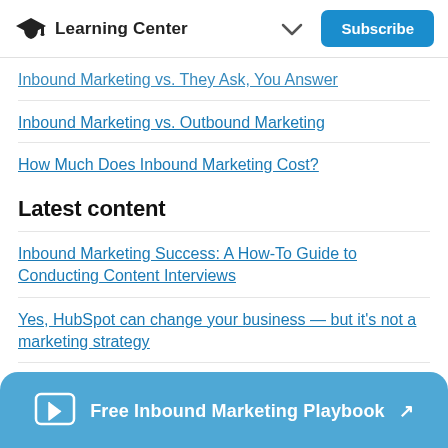Learning Center
Inbound Marketing vs. They Ask, You Answer
Inbound Marketing vs. Outbound Marketing
How Much Does Inbound Marketing Cost?
Latest content
Inbound Marketing Success: A How-To Guide to Conducting Content Interviews
Yes, HubSpot can change your business — but it's not a marketing strategy
Is your marketing still relevant in 2021?
Free Inbound Marketing Playbook ↗